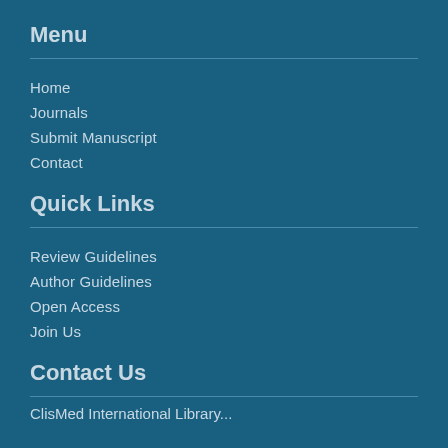Menu
Home
Journals
Submit Manuscript
Contact
Quick Links
Review Guidelines
Author Guidelines
Open Access
Join Us
Contact Us
ClisMed International Library...